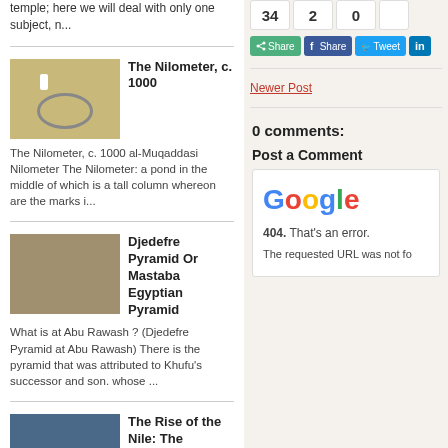temple; here we will deal with only one subject, n...
[Figure (photo): Thumbnail image of a Nilometer archaeological site]
The Nilometer, c. 1000
The Nilometer, c. 1000 al-Muqaddasi Nilometer The Nilometer: a pond in the middle of which is a tall column whereon are the marks i...
[Figure (photo): Thumbnail image of the Djedefre Pyramid or Mastaba at Abu Rawash]
Djedefre Pyramid Or Mastaba Egyptian Pyramid
What is at Abu Rawash ? (Djedefre Pyramid at Abu Rawash) There is the pyramid that was attributed to Khufu's successor and son. whose ...
[Figure (photo): Thumbnail aerial image of the Nile]
The Rise of the Nile: The Nilometer, 1833
The Rise of the Nile: The Nilometer, 1833 Robert Sauva... Rise of the Nile...
34
2
0
< Share
Share
Tweet
in
Newer Post
0 comments:
Post a Comment
[Figure (screenshot): Google 404 error page showing Google logo and '404. That's an error. The requested URL was not fo...']